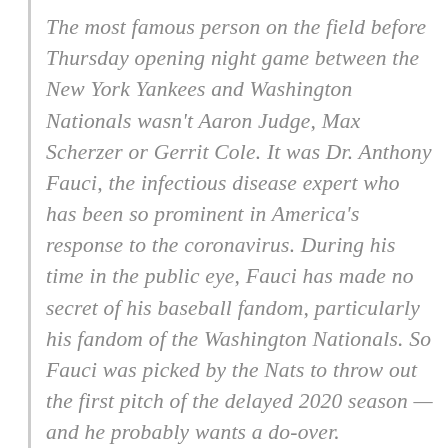The most famous person on the field before Thursday opening night game between the New York Yankees and Washington Nationals wasn't Aaron Judge, Max Scherzer or Gerrit Cole. It was Dr. Anthony Fauci, the infectious disease expert who has been so prominent in America's response to the coronavirus. During his time in the public eye, Fauci has made no secret of his baseball fandom, particularly his fandom of the Washington Nationals. So Fauci was picked by the Nats to throw out the first pitch of the delayed 2020 season — and he probably wants a do-over.